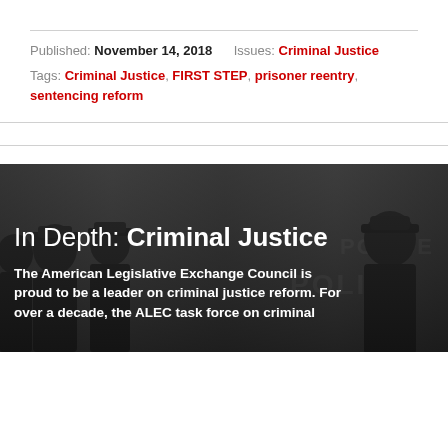Published: November 14, 2018    Issues: Criminal Justice
Tags: Criminal Justice, FIRST STEP, prisoner reentry, sentencing reform
[Figure (photo): Police officers in uniform standing in a group, dark overlay, with text overlay reading 'In Depth: Criminal Justice' and body text about the American Legislative Exchange Council.]
In Depth: Criminal Justice
The American Legislative Exchange Council is proud to be a leader on criminal justice reform. For over a decade, the ALEC task force on criminal